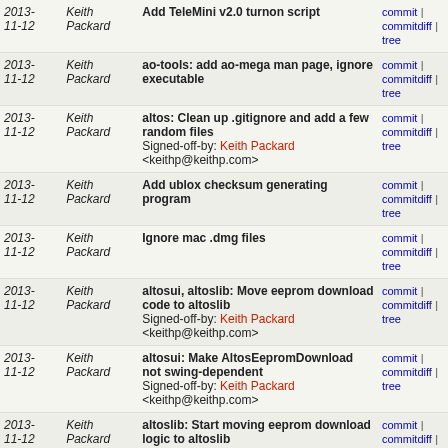| Date | Author | Message | Links |
| --- | --- | --- | --- |
| 2013-11-12 | Keith Packard | Add TeleMini v2.0 turnon script | commit | commitdiff | tree |
| 2013-11-12 | Keith Packard | ao-tools: add ao-mega man page, ignore executable | commit | commitdiff | tree |
| 2013-11-12 | Keith Packard | altos: Clean up .gitignore and add a few random files
Signed-off-by: Keith Packard <keithp@keithp.com> | commit | commitdiff | tree |
| 2013-11-12 | Keith Packard | Add ublox checksum generating program | commit | commitdiff | tree |
| 2013-11-12 | Keith Packard | Ignore mac .dmg files | commit | commitdiff | tree |
| 2013-11-12 | Keith Packard | altosui, altoslib: Move eeprom download code to altoslib
Signed-off-by: Keith Packard <keithp@keithp.com> | commit | commitdiff | tree |
| 2013-11-12 | Keith Packard | altosui: Make AltosEepromDownload not swing-dependent
Signed-off-by: Keith Packard <keithp@keithp.com> | commit | commitdiff | tree |
| 2013-11-12 | Keith Packard | altoslib: Start moving eeprom download logic to altoslib
Signed-off-by: Keith Packard <keithp@keithp.com> | commit | commitdiff | tree |
| 2013-11-12 | Keith Packard | altoslib: Raise ParseException on invalid eeprom format
Signed-off-by: Keith Packard | commit | commitdiff | tree |